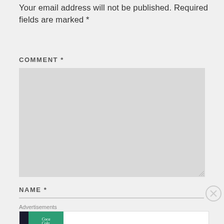Your email address will not be published. Required fields are marked *
COMMENT *
[Figure (screenshot): Empty comment textarea form field (light gray box)]
NAME *
[Figure (screenshot): Name input field with horizontal underline and close (X) button]
Advertisements
[Figure (screenshot): Pocket Casts advertisement banner: The go-to app for podcast lovers.]